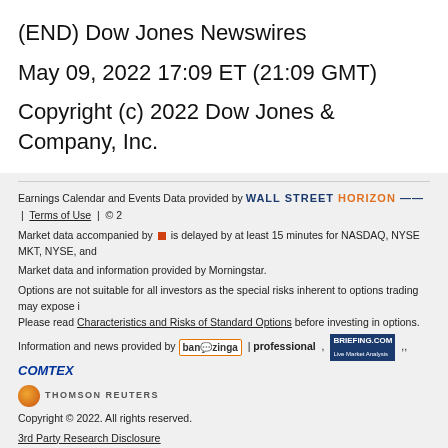(END) Dow Jones Newswires
May 09, 2022 17:09 ET (21:09 GMT)
Copyright (c) 2022 Dow Jones & Company, Inc.
Earnings Calendar and Events Data provided by WALL STREET HORIZON | Terms of Use | © 2
Market data accompanied by is delayed by at least 15 minutes for NASDAQ, NYSE MKT, NYSE, and
Market data and information provided by Morningstar.
Options are not suitable for all investors as the special risks inherent to options trading may expose i Please read Characteristics and Risks of Standard Options before investing in options.
Information and news provided by benzinga | professional , BRIEFING.COM , COMTEX
THOMSON REUTERS
Copyright © 2022. All rights reserved.
3rd Party Research Disclosure
[Figure (logo): TD Ameritrade logo — green TD box with white TD letters and bold Ameritrade wordmark]